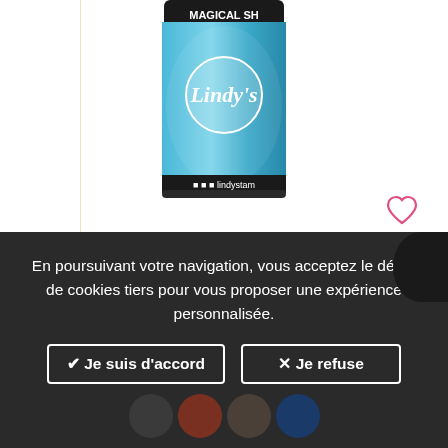[Figure (photo): Product photo of Lindy's Stamp Gang Magical Shaker in Guten Tag Teal – a blue cylindrical shaker container with the Lindy's logo and 'lindystamp' text on the label, with a heart/wishlist icon to the right.]
Lindy's Stamp Gang
LINDY'S GANG MAGICAL SHAKER - GUTEN TAG TEAL
4.50 €
En poursuivant votre navigation, vous acceptez le dépôt de cookies tiers pour vous proposer une expérience personnalisée.
✔ Je suis d'accord
✕ Je refuse